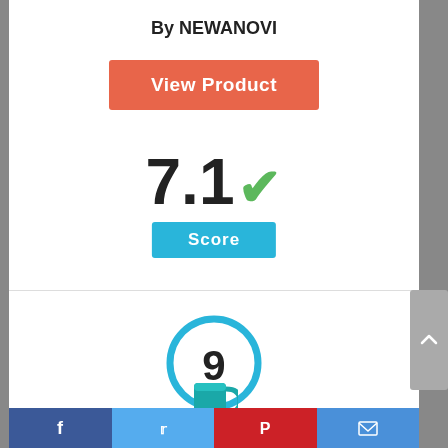By NEWANOVI
View Product
7.1
Score
[Figure (other): Circle with number 9 inside, blue outline]
[Figure (other): Teal/cyan coffee mug illustration]
Facebook | Twitter | Pinterest | Email